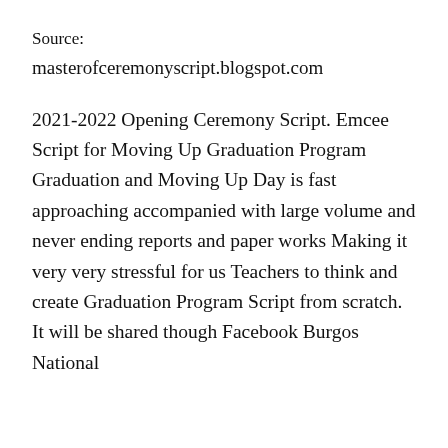Source:
masterofceremonyscript.blogspot.com
2021-2022 Opening Ceremony Script. Emcee Script for Moving Up Graduation Program Graduation and Moving Up Day is fast approaching accompanied with large volume and never ending reports and paper works Making it very very stressful for us Teachers to think and create Graduation Program Script from scratch. It will be shared though Facebook Burgos National